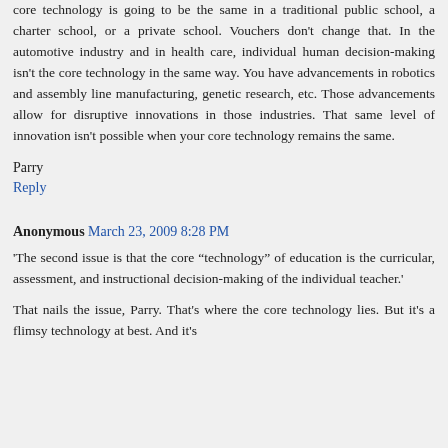core technology is going to be the same in a traditional public school, a charter school, or a private school. Vouchers don't change that. In the automotive industry and in health care, individual human decision-making isn't the core technology in the same way. You have advancements in robotics and assembly line manufacturing, genetic research, etc. Those advancements allow for disruptive innovations in those industries. That same level of innovation isn't possible when your core technology remains the same.
Parry
Reply
Anonymous March 23, 2009 8:28 PM
'The second issue is that the core “technology” of education is the curricular, assessment, and instructional decision-making of the individual teacher.'
That nails the issue, Parry. That's where the core technology lies. But it's a flimsy technology at best. And it's